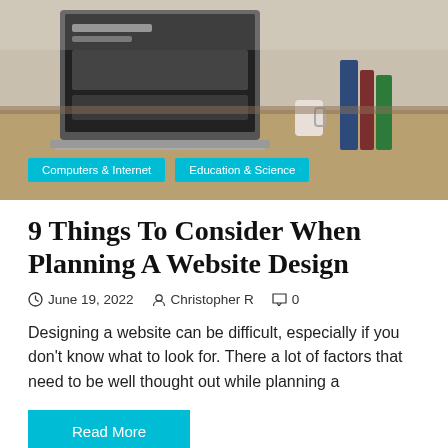[Figure (photo): Photo of a laptop on a desk with books and a coffee cup, representing a workspace. Two cyan category tags overlay the bottom of the image: 'Computers & Internet' and 'Education & Science'.]
9 Things To Consider When Planning A Website Design
June 19, 2022   Christopher R   0
Designing a website can be difficult, especially if you don't know what to look for. There a lot of factors that need to be well thought out while planning a
Read More
[Figure (photo): Partial grayscale photo at the bottom of the page, with a cyan-bordered scroll-to-top button in the bottom right corner.]